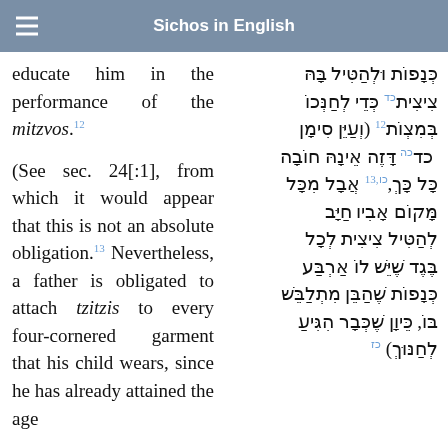Sichos in English
educate him in the performance of the mitzvos.12
(See sec. 24[:1], from which it would appear that this is not an absolute obligation.13 Nevertheless, a father is obligated to attach tzitzis to every four-cornered garment that his child wears, since he has already attained the age…
כנפות ולהטיל בה ציצית כד כדי לחנכו במצות 12 (ועיין סימן כד כה דזה אינה חובה כל כך, כו,13 אבל מכל מקום אביו חיב להטיל ציצית לכל בגד שיש לו ארבע כנפות שהבן מתלבש בו, כיון שכבר הגיע לחנוך) כז